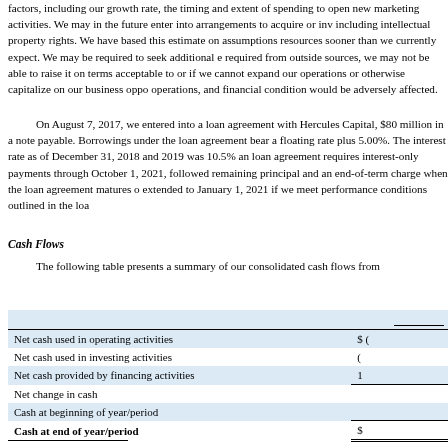factors, including our growth rate, the timing and extent of spending to open new marketing activities. We may in the future enter into arrangements to acquire or inv including intellectual property rights. We have based this estimate on assumptions resources sooner than we currently expect. We may be required to seek additional required from outside sources, we may not be able to raise it on terms acceptable to or if we cannot expand our operations or otherwise capitalize on our business oppo operations, and financial condition would be adversely affected.
On August 7, 2017, we entered into a loan agreement with Hercules Capital, $80 million in a note payable. Borrowings under the loan agreement bear a floating rate plus 5.00%. The interest rate as of December 31, 2018 and 2019 was 10.5% an loan agreement requires interest-only payments through October 1, 2021, followed remaining principal and an end-of-term charge when the loan agreement matures o extended to January 1, 2021 if we meet performance conditions outlined in the loa
Cash Flows
The following table presents a summary of our consolidated cash flows from
|  |  |
| --- | --- |
| Net cash used in operating activities | $ ( |
| Net cash used in investing activities | ( |
| Net cash provided by financing activities | 1 |
| Net change in cash |  |
| Cash at beginning of year/period |  |
| Cash at end of year/period | $  |